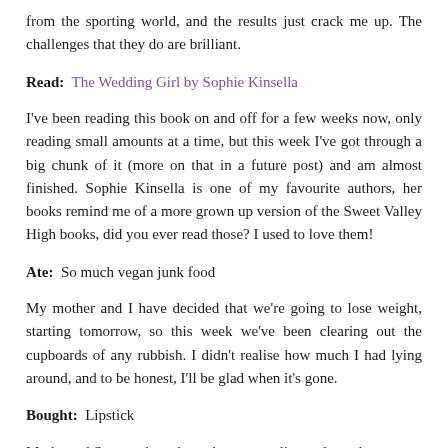from the sporting world, and the results just crack me up. The challenges that they do are brilliant.
Read:  The Wedding Girl by Sophie Kinsella
I've been reading this book on and off for a few weeks now, only reading small amounts at a time, but this week I've got through a big chunk of it (more on that in a future post) and am almost finished. Sophie Kinsella is one of my favourite authors, her books remind me of a more grown up version of the Sweet Valley High books, did you ever read those? I used to love them!
Ate:  So much vegan junk food
My mother and I have decided that we're going to lose weight, starting tomorrow, so this week we've been clearing out the cupboards of any rubbish. I didn't realise how much I had lying around, and to be honest, I'll be glad when it's gone.
Bought:  Lipstick
Marks and Spencer have brought out new lip products that are